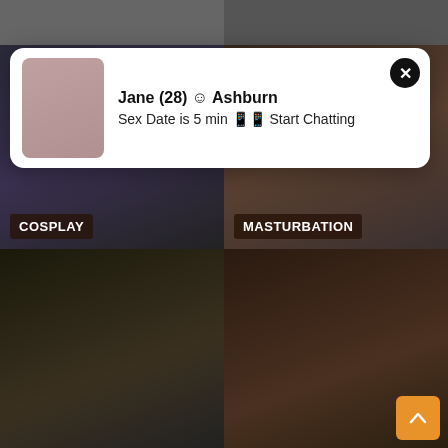[Figure (photo): Top banner row of thumbnail images]
[Figure (photo): Middle left thumbnail labeled COSPLAY showing person in black corset]
[Figure (photo): Middle right thumbnail labeled MASTURBATION]
[Figure (photo): Bottom left thumbnail showing woman in classroom / teacher scene]
[Figure (photo): Bottom right thumbnail showing group scene]
Jane (28) 😊 Ashburn
Sex Date is 5 min 📱📱 Start Chatting